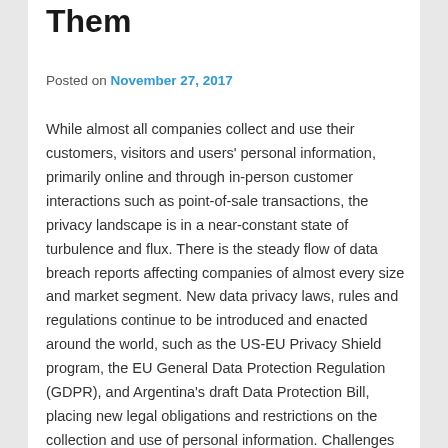Them
Posted on November 27, 2017
While almost all companies collect and use their customers, visitors and users' personal information, primarily online and through in-person customer interactions such as point-of-sale transactions, the privacy landscape is in a near-constant state of turbulence and flux. There is the steady flow of data breach reports affecting companies of almost every size and market segment. New data privacy laws, rules and regulations continue to be introduced and enacted around the world, such as the US-EU Privacy Shield program, the EU General Data Protection Regulation (GDPR), and Argentina's draft Data Protection Bill, placing new legal obligations and restrictions on the collection and use of personal information. Challenges continue to be raised against laws which are perceived to overreach or conflict with privacy rights, such as the continued challenges to the Privacy Shield program and EU's Model Contract Clauses.